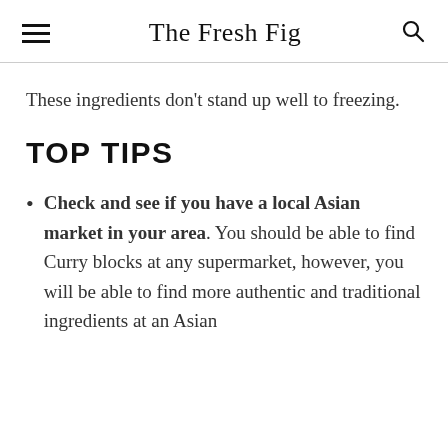The Fresh Fig
These ingredients don't stand up well to freezing.
TOP TIPS
Check and see if you have a local Asian market in your area. You should be able to find Curry blocks at any supermarket, however, you will be able to find more authentic and traditional ingredients at an Asian